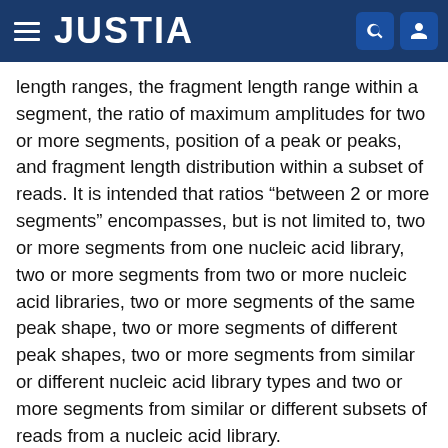JUSTIA
length ranges, the fragment length range within a segment, the ratio of maximum amplitudes for two or more segments, position of a peak or peaks, and fragment length distribution within a subset of reads. It is intended that ratios “between 2 or more segments” encompasses, but is not limited to, two or more segments from one nucleic acid library, two or more segments from two or more nucleic acid libraries, two or more segments of the same peak shape, two or more segments of different peak shapes, two or more segments from similar or different nucleic acid library types and two or more segments from similar or different subsets of reads from a nucleic acid library.
Distribution types include, but are not limited to, a single peak shape, a multiple peak shape, exponential or exponential-like distributions, distributions inflated for